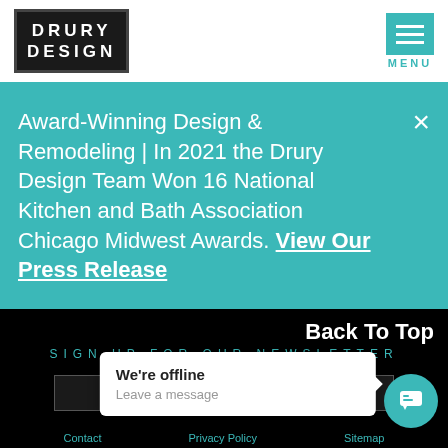[Figure (logo): Drury Design logo: white text on dark background with border reading DRURY DESIGN]
[Figure (other): Teal hamburger menu icon with MENU label below]
Award-Winning Design & Remodeling | In 2021 the Drury Design Team Won 16 National Kitchen and Bath Association Chicago Midwest Awards. View Our Press Release
Back To Top
SIGN UP FOR OUR NEWSLETTER
We're offline
Leave a message
Contact   Privacy Policy   Sitemap